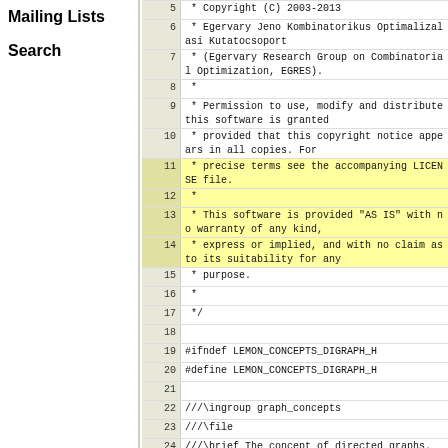Mailing Lists
Search
| line | code |
| --- | --- |
| 5 |  * Copyright (C) 2003-2013 |
| 6 |  * Egervary Jeno Kombinatorikus Optimalizalasi Kutatocsoport |
| 7 |  * (Egervary Research Group on Combinatorial Optimization, EGRES). |
| 8 |  * |
| 9 |  * Permission to use, modify and distribute this software is granted |
| 10 |  * provided that this copyright notice appears in all copies. For |
| 11 |  * precise terms see the accompanying LICENSE file. |
| 12 |  * |
| 13 |  * This software is provided "AS IS" with no warranty of any kind, |
| 14 |  * express or implied, and with no claim as to its suitability for any |
| 15 |  * purpose. |
| 16 |  * |
| 17 |  */ |
| 18 |  |
| 19 | #ifndef LEMON_CONCEPTS_DIGRAPH_H |
| 20 | #define LEMON_CONCEPTS_DIGRAPH_H |
| 21 |  |
| 22 | ///\ingroup graph_concepts |
| 23 | ///\file |
| 24 | ///\brief The concept of directed graphs. |
| 25 |  |